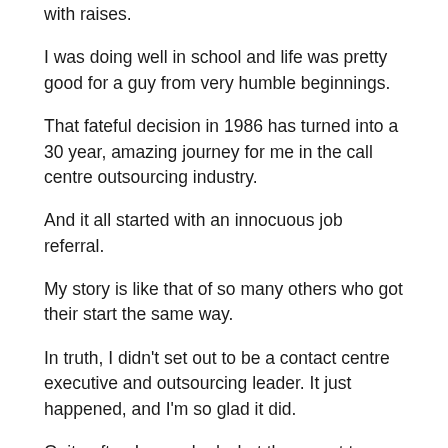with raises.
I was doing well in school and life was pretty good for a guy from very humble beginnings.
That fateful decision in 1986 has turned into a 30 year, amazing journey for me in the call centre outsourcing industry.
And it all started with an innocuous job referral.
My story is like that of so many others who got their start the same way.
In truth, I didn't set out to be a contact centre executive and outsourcing leader. It just happened, and I'm so glad it did.
Quite often I am asked what the secret to my success is.
I believe there are several key factors, but the one that stands out most to me lately is my ability to be humbled by